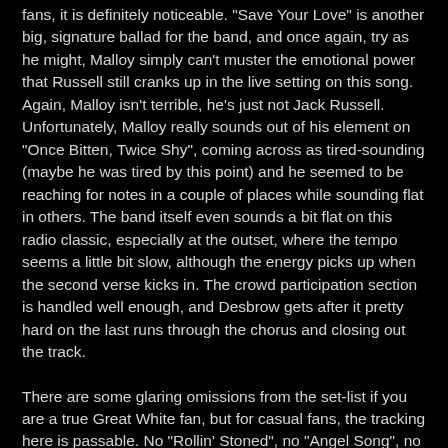fans, it is definitely noticeable. "Save Your Love" is another big, signature ballad for the band, and once again, try as he might, Malloy simply can't muster the emotional power that Russell still cranks up in the live setting on this song. Again, Malloy isn't terrible, he's just not Jack Russell. Unfortunately, Malloy really sounds out of his element on "Once Bitten, Twice Shy", coming across as tired-sounding (maybe he was tired by this point) and he seemed to be reaching for notes in a couple of places while sounding flat in others. The band itself even sounds a bit flat on this radio classic, especially at the outset, where the tempo seems a little bit slow, although the energy picks up when the second verse kicks in. The crowd participation section is handled well enough, and Desbrow gets after it pretty hard on the last runs through the chorus and closing out the track.
There are some glaring omissions from the set-list if you are a true Great White fan, but for casual fans, the tracking here is passable. No "Rollin' Stoned", no "Angel Song", no "Face The Day" or "Stick It" or "Big Goodbye" or "Call It Rock N Roll"...all are songs that certainly could have/should have found their way into the live set, in my opinion, especially